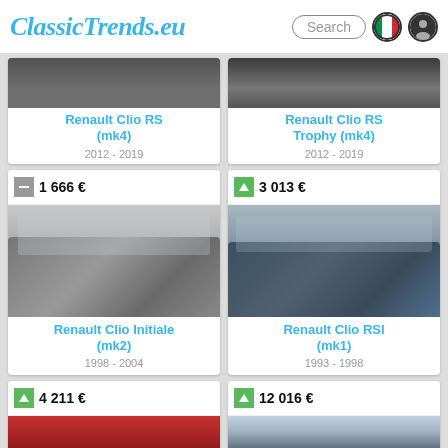ClassicTrends.eu
[Figure (screenshot): ClassicTrends.eu website showing Renault Clio listings grid with car cards]
Renault Clio RS (mk4)
2012 - 2019
Renault Clio RS Trophy (mk4)
2012 - 2019
1 666 €
Renault Clio Initiale (mk2)
1998 - 2004
3 013 €
Renault Clio RSI (mk1)
1993 - 1998
4 211 €
12 016 €